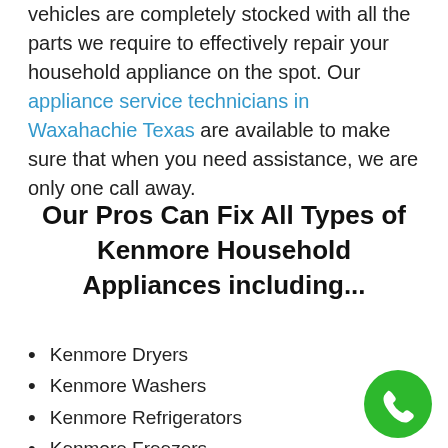vehicles are completely stocked with all the parts we require to effectively repair your household appliance on the spot. Our appliance service technicians in Waxahachie Texas are available to make sure that when you need assistance, we are only one call away.
Our Pros Can Fix All Types of Kenmore Household Appliances including...
Kenmore Dryers
Kenmore Washers
Kenmore Refrigerators
Kenmore Freezers
Kenmore Ice Makers
Kenmore Ovens
[Figure (illustration): Green circular phone/call button icon in the bottom right corner]